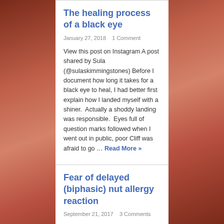The healing process of a black eye
January 27, 2018    1 Comment
View this post on Instagram A post shared by Sula (@sulaskimmingstones) Before I document how long it takes for a black eye to heal, I had better first explain how I landed myself with a shiner.  Actually a shoddy landing was responsible.  Eyes full of question marks followed when I went out in public, poor Cliff was afraid to go … Read More »
Fear of delayed (biphasic) nut allergy reaction
September 21, 2017    3 Comments